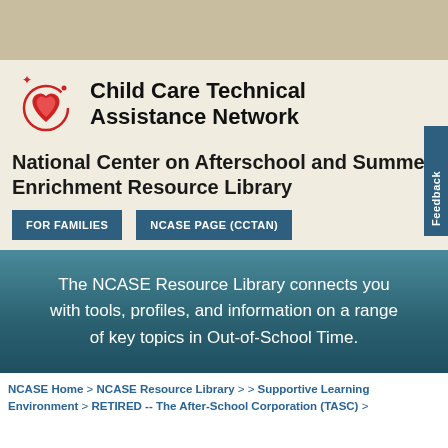[Figure (logo): Child Care Technical Assistance Network logo with red heart and orbit design]
Child Care Technical Assistance Network
National Center on Afterschool and Summer Enrichment Resource Library
FOR FAMILIES
NCASE PAGE (CCTAN)
The NCASE Resource Library connects you with tools, profiles, and information on a range of key topics in Out-of-School Time.
NCASE Home > NCASE Resource Library > > Supportive Learning Environment > RETIRED -- The After-School Corporation (TASC) >